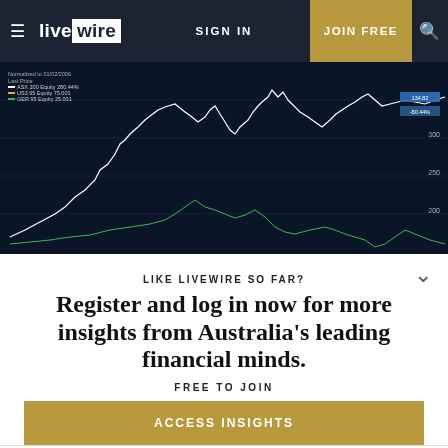live wire | SIGN IN | JOIN FREE
[Figure (continuous-plot): Bloomberg financial chart showing normalized price lines (white and green) for ASX, US, and GER equity indices on a dark blue background, with legend showing normalized values and a date range annotation.]
LIKE LIVEWIRE SO FAR?
Register and log in now for more insights from Australia's leading financial minds.
FREE TO JOIN
ACCESS INSIGHTS
companies with good assets, and management teams